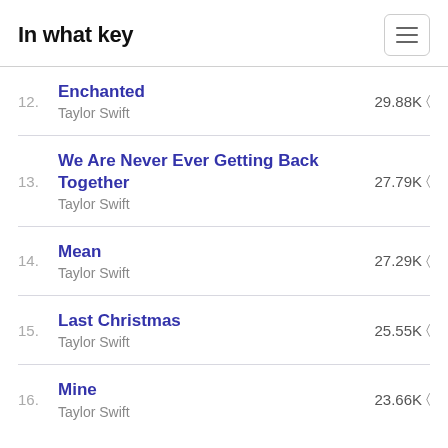In what key
12. Enchanted – Taylor Swift – 29.88K
13. We Are Never Ever Getting Back Together – Taylor Swift – 27.79K
14. Mean – Taylor Swift – 27.29K
15. Last Christmas – Taylor Swift – 25.55K
16. Mine – Taylor Swift – 23.66K